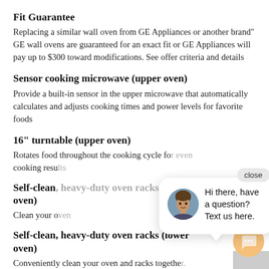Fit Guarantee
Replacing a similar wall oven from GE Appliances or another brand" GE wall ovens are guaranteed for an exact fit or GE Appliances will pay up to $300 toward modifications. See offer criteria and details
Sensor cooking microwave (upper oven)
Provide a built-in sensor in the upper microwave that automatically calculates and adjusts cooking times and power levels for favorite foods
16" turntable (upper oven)
Rotates food throughout the cooking cycle for even cooking results
Self-clean, heavy-duty oven racks (lower oven)
Clean your oven
Self-clean, heavy-duty oven racks (lower oven)
Conveniently clean your oven and racks together.
Glass touch controls
[Figure (illustration): Chat popup with avatar photo of a woman, text saying 'Hi there, have a question? Text us here.' with a close button and orange chat button]
Hi there, have a question? Text us here.